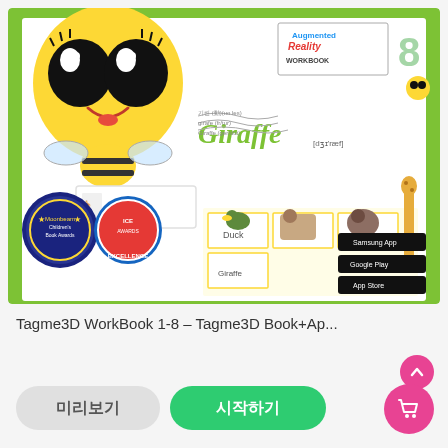[Figure (illustration): Educational workbook cover showing an augmented reality workbook (Tagme3D WorkBook 1-8) with a cartoon bee mascot character, animals including a giraffe, duck, dog, bear, and cat placed on flashcards, the title 'Augmented Reality WORKBOOK' and 'Giraffe' text, Moonbeam Children's Book Awards badge, Excellence awards badge, and app store download buttons for Samsung, Google Play, and App Store. The book has a bright green cover with white inner pages.]
Tagme3D WorkBook 1-8 – Tagme3D Book+Ap...
미리보기
시작하기